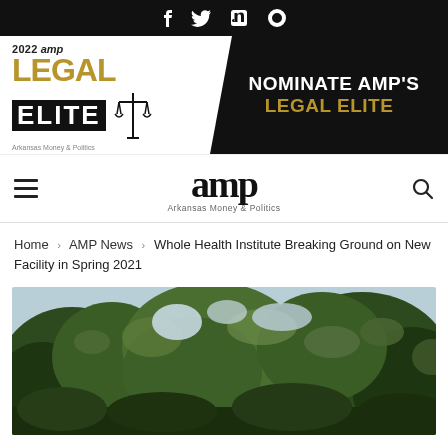Social media icons: Facebook, Twitter, LinkedIn, RSS
[Figure (logo): 2022 amp LEGAL ELITE logo with scales of justice, and banner: NOMINATE AMP'S LEGAL ELITE]
[Figure (logo): amp Arkansas Money & Politics logo with hamburger menu and search icon]
Home > AMP News > Whole Health Institute Breaking Ground on New Facility in Spring 2021
[Figure (photo): Looking up through tree canopy with green leaves against a light sky]